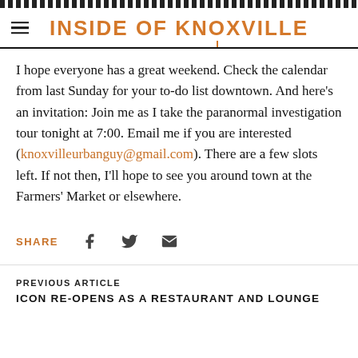INSIDE OF KNOXVILLE
I hope everyone has a great weekend. Check the calendar from last Sunday for your to-do list downtown. And here's an invitation: Join me as I take the paranormal investigation tour tonight at 7:00. Email me if you are interested (knoxvilleurbanguy@gmail.com). There are a few slots left. If not then, I'll hope to see you around town at the Farmers' Market or elsewhere.
SHARE
PREVIOUS ARTICLE
ICON RE-OPENS AS A RESTAURANT AND LOUNGE